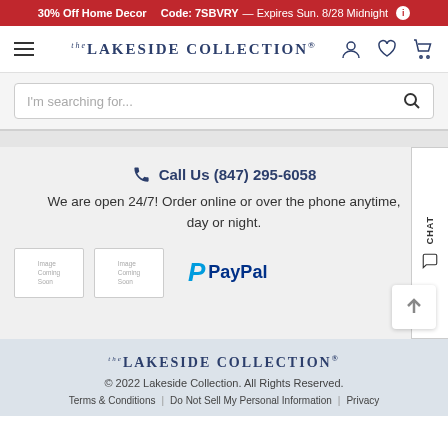30% Off Home Decor  Code: 7SBVRY— Expires Sun. 8/28 Midnight
[Figure (logo): The Lakeside Collection logo with hamburger menu and user/wishlist/cart icons]
I'm searching for...
Call Us (847) 295-6058
We are open 24/7! Order online or over the phone anytime, day or night.
[Figure (logo): PayPal payment logo]
[Figure (logo): The Lakeside Collection footer logo]
© 2022 Lakeside Collection. All Rights Reserved.
Terms & Conditions | Do Not Sell My Personal Information | Privacy